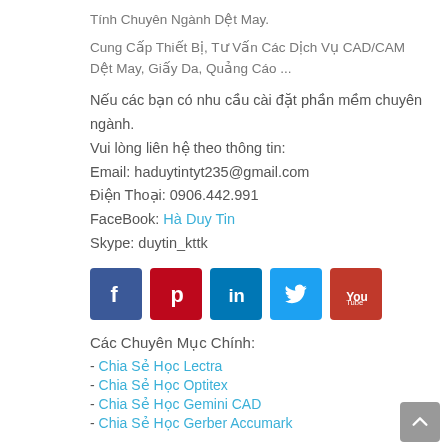Tính Chuyên Ngành Dệt May.
Cung Cấp Thiết Bị, Tư Vấn Các Dịch Vụ CAD/CAM Dệt May, Giấy Da, Quảng Cáo ...
Nếu các bạn có nhu cầu cài đặt phần mềm chuyên ngành.
Vui lòng liên hệ theo thông tin:
Email: haduytintyt235@gmail.com
Điện Thoại: 0906.442.991
FaceBook: Hà Duy Tin
Skype: duytin_kttk
[Figure (infographic): Row of five social media icon buttons: Facebook (blue), Pinterest (red), LinkedIn (blue), Twitter (light blue), YouTube (red)]
Các Chuyên Mục Chính:
- Chia Sẻ Học Lectra
- Chia Sẻ Học Optitex
- Chia Sẻ Học Gemini CAD
- Chia Sẻ Học Gerber Accumark